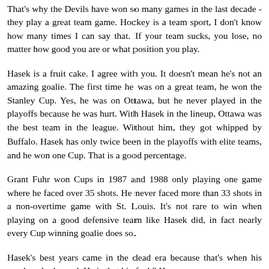That's why the Devils have won so many games in the last decade - they play a great team game. Hockey is a team sport, I don't know how many times I can say that. If your team sucks, you lose, no matter how good you are or what position you play.
Hasek is a fruit cake. I agree with you. It doesn't mean he's not an amazing goalie. The first time he was on a great team, he won the Stanley Cup. Yes, he was on Ottawa, but he never played in the playoffs because he was hurt. With Hasek in the lineup, Ottawa was the best team in the league. Without him, they got whipped by Buffalo. Hasek has only twice been in the playoffs with elite teams, and he won one Cup. That is a good percentage.
Grant Fuhr won Cups in 1987 and 1988 only playing one game where he faced over 35 shots. He never faced more than 33 shots in a non-overtime game with St. Louis. It's not rare to win when playing on a good defensive team like Hasek did, in fact nearly every Cup winning goalie does so.
Hasek's best years came in the dead era because that's when his numbers look good. He is that his fault? H...